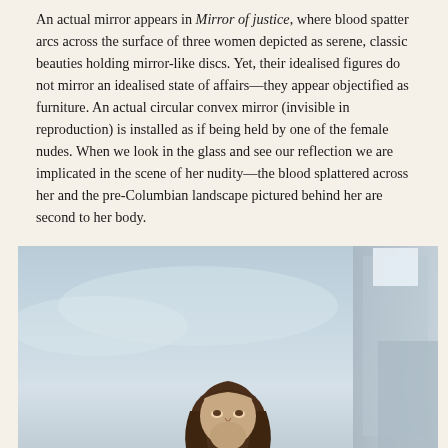An actual mirror appears in Mirror of justice, where blood spatter arcs across the surface of three women depicted as serene, classic beauties holding mirror-like discs. Yet, their idealised figures do not mirror an idealised state of affairs—they appear objectified as furniture. An actual circular convex mirror (invisible in reproduction) is installed as if being held by one of the female nudes. When we look in the glass and see our reflection we are implicated in the scene of her nudity—the blood splattered across her and the pre-Columbian landscape pictured behind her are second to her body.
[Figure (photo): A photograph showing a person with long dark hair looking upward against a light blue and grey sky, with a large geometric structure or building partially visible on the right side.]